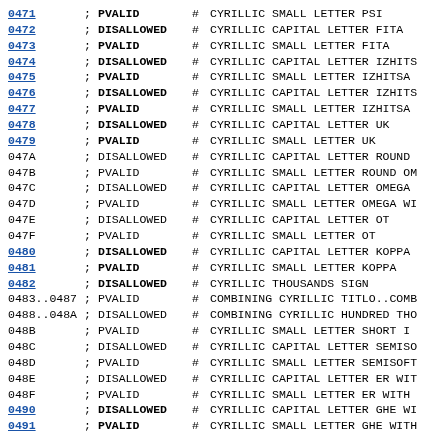| Code | ; | Status | # | Description |
| --- | --- | --- | --- | --- |
| 0471 | ; | PVALID | # | CYRILLIC SMALL LETTER PSI |
| 0472 | ; | DISALLOWED | # | CYRILLIC CAPITAL LETTER FITA |
| 0473 | ; | PVALID | # | CYRILLIC SMALL LETTER FITA |
| 0474 | ; | DISALLOWED | # | CYRILLIC CAPITAL LETTER IZHITS |
| 0475 | ; | PVALID | # | CYRILLIC SMALL LETTER IZHITSA |
| 0476 | ; | DISALLOWED | # | CYRILLIC CAPITAL LETTER IZHITS |
| 0477 | ; | PVALID | # | CYRILLIC SMALL LETTER IZHITSA |
| 0478 | ; | DISALLOWED | # | CYRILLIC CAPITAL LETTER UK |
| 0479 | ; | PVALID | # | CYRILLIC SMALL LETTER UK |
| 047A | ; | DISALLOWED | # | CYRILLIC CAPITAL LETTER ROUND |
| 047B | ; | PVALID | # | CYRILLIC SMALL LETTER ROUND OM |
| 047C | ; | DISALLOWED | # | CYRILLIC CAPITAL LETTER OMEGA |
| 047D | ; | PVALID | # | CYRILLIC SMALL LETTER OMEGA WI |
| 047E | ; | DISALLOWED | # | CYRILLIC CAPITAL LETTER OT |
| 047F | ; | PVALID | # | CYRILLIC SMALL LETTER OT |
| 0480 | ; | DISALLOWED | # | CYRILLIC CAPITAL LETTER KOPPA |
| 0481 | ; | PVALID | # | CYRILLIC SMALL LETTER KOPPA |
| 0482 | ; | DISALLOWED | # | CYRILLIC THOUSANDS SIGN |
| 0483..0487 | ; | PVALID | # | COMBINING CYRILLIC TITLO..COMB |
| 0488..048A | ; | DISALLOWED | # | COMBINING CYRILLIC HUNDRED THO |
| 048B | ; | PVALID | # | CYRILLIC SMALL LETTER SHORT I |
| 048C | ; | DISALLOWED | # | CYRILLIC CAPITAL LETTER SEMISO |
| 048D | ; | PVALID | # | CYRILLIC SMALL LETTER SEMISOFT |
| 048E | ; | DISALLOWED | # | CYRILLIC CAPITAL LETTER ER WIT |
| 048F | ; | PVALID | # | CYRILLIC SMALL LETTER ER WITH |
| 0490 | ; | DISALLOWED | # | CYRILLIC CAPITAL LETTER GHE WI |
| 0491 | ; | PVALID | # | CYRILLIC SMALL LETTER GHE WITH |